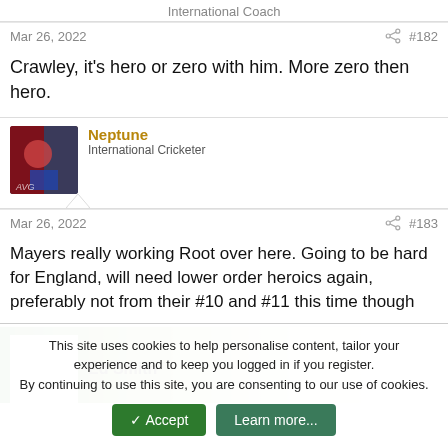International Coach
Mar 26, 2022  #182
Crawley, it's hero or zero with him. More zero then hero.
Neptune
International Cricketer
Mar 26, 2022  #183
Mayers really working Root over here. Going to be hard for England, will need lower order heroics again, preferably not from their #10 and #11 this time though
Ed Smith
This site uses cookies to help personalise content, tailor your experience and to keep you logged in if you register.
By continuing to use this site, you are consenting to our use of cookies.